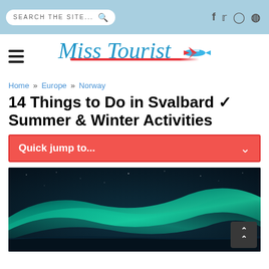SEARCH THE SITE... [search icon] [f] [twitter] [instagram] [pinterest]
[Figure (logo): Miss Tourist logo with cursive blue text, red underline, and airplane icon]
Home » Europe » Norway
14 Things to Do in Svalbard ✓ Summer & Winter Activities
Quick jump to...
[Figure (photo): Aurora borealis (northern lights) photograph showing green light streaks over dark blue sky]